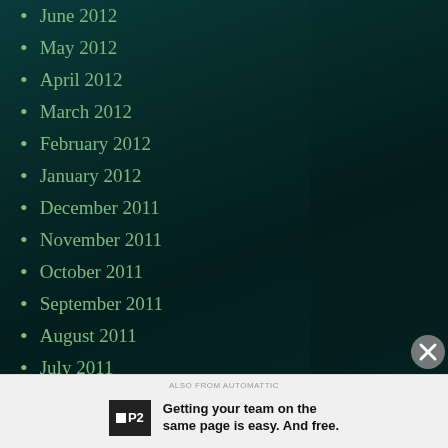June 2012
May 2012
April 2012
March 2012
February 2012
January 2012
December 2011
November 2011
October 2011
September 2011
August 2011
July 2011
June 2011
Getting your team on the same page is easy. And free.